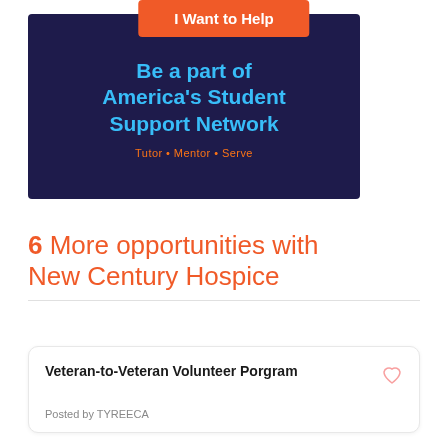[Figure (illustration): Orange button labeled 'I Want to Help' above a dark navy banner with text 'Be a part of America's Student Support Network' in cyan/blue bold font, and 'Tutor • Mentor • Serve' in orange below]
6 More opportunities with New Century Hospice
Veteran-to-Veteran Volunteer Porgram